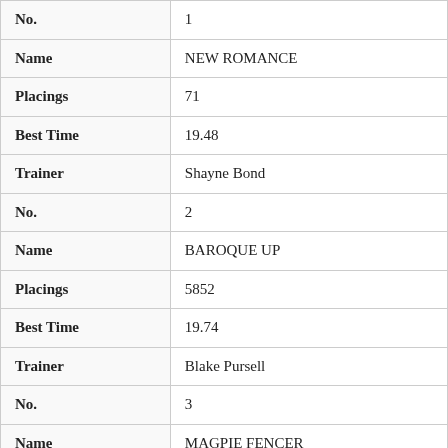| Field | Value |
| --- | --- |
| No. | 1 |
| Name | NEW ROMANCE |
| Placings | 71 |
| Best Time | 19.48 |
| Trainer | Shayne Bond |
| No. | 2 |
| Name | BAROQUE UP |
| Placings | 5852 |
| Best Time | 19.74 |
| Trainer | Blake Pursell |
| No. | 3 |
| Name | MAGPIE FENCER |
| Placings | 8581 |
| Best Time | 19.85 |
| Trainer | Kyron Ebdon |
| No. | 4 |
| Name | LANCIE BOY |